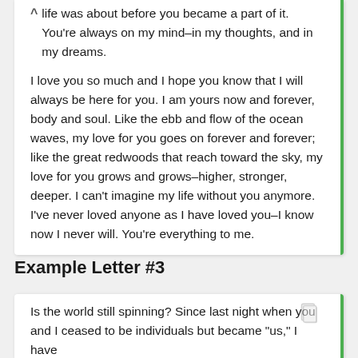life was about before you became a part of it. You're always on my mind–in my thoughts, and in my dreams.

I love you so much and I hope you know that I will always be here for you. I am yours now and forever, body and soul. Like the ebb and flow of the ocean waves, my love for you goes on forever and forever; like the great redwoods that reach toward the sky, my love for you grows and grows–higher, stronger, deeper. I can't imagine my life without you anymore. I've never loved anyone as I have loved you–I know now I never will. You're everything to me.
Example Letter #3
Is the world still spinning? Since last night when you and I ceased to be individuals but became "us," I have